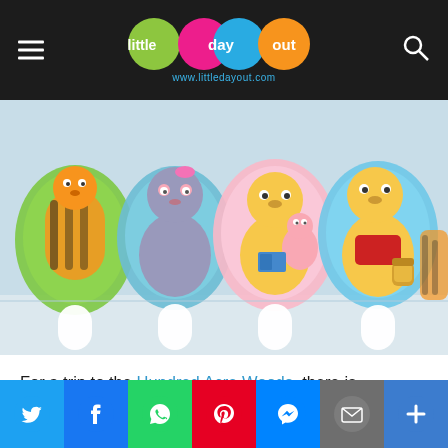little day out — www.littledayout.com
[Figure (photo): Photo of Lifebuoy Winnie The Pooh hand sanitizer collection showing Tigger, Eeyore, Pooh and Piglet, and another Pooh with Tigger character cutout dispensers on a table]
For a trip to the Hundred Acre Woods, there is Lifebuoy's Winnie The Pooh collection.
This features Pooh, Tigger, Eeyore and Piglet, four iconic characters who often find themselves embroiled in joyous adventures together.
The various designs celebrate the joy of friendship, adventure and gratitude.